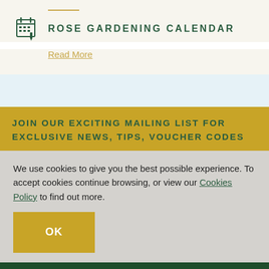ROSE GARDENING CALENDAR
Read More
JOIN OUR EXCITING MAILING LIST FOR EXCLUSIVE NEWS, TIPS, VOUCHER CODES
We use cookies to give you the best possible experience. To accept cookies continue browsing, or view our Cookies Policy to find out more.
OK
SHOP